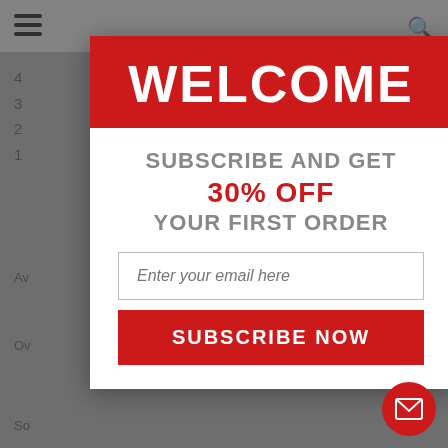[Figure (screenshot): Background website page with hamburger menu, search icon, numbered list items (4,3,2,1), average and overview text snippets, dimmed by modal overlay]
WELCOME
SUBSCRIBE AND GET
30% OFF
YOUR FIRST ORDER
Enter your email here
SUBSCRIBE NOW
[Figure (illustration): Red circular mail/envelope button in bottom right corner]